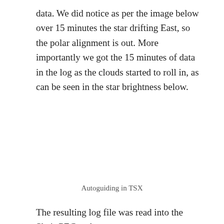data. We did notice as per the image below over 15 minutes the star drifting East, so the polar alignment is out. More importantly we got the 15 minutes of data in the log as the clouds started to roll in, as can be seen in the star brightness below.
Autoguiding in TSX
The resulting log file was read into the Sky's PEC and